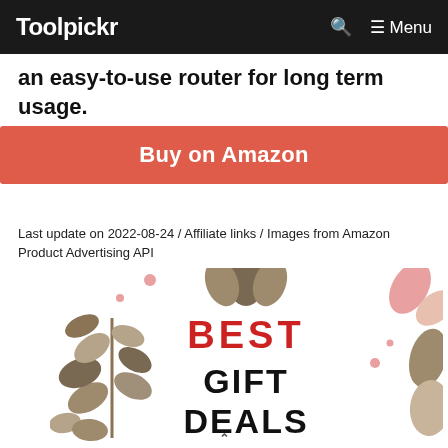Toolpickr — Menu
an easy-to-use router for long term usage.
Buy on Amazon
Last update on 2022-08-24 / Affiliate links / Images from Amazon Product Advertising API
[Figure (illustration): Decorative promotional banner with floral/leaf shapes and the text BEST GIFT DEALS. Red text for BEST, black bold for GIFT DEALS.]